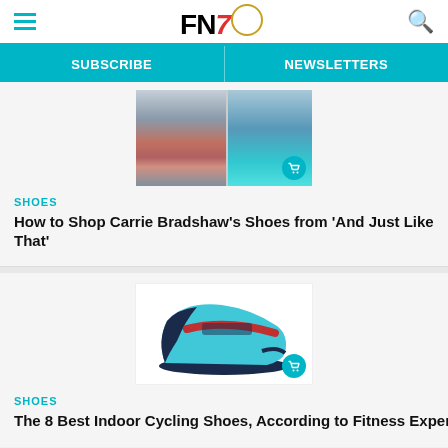FN7 — Footwear News website header with hamburger menu, logo, and search icon
SUBSCRIBE | NEWSLETTERS
[Figure (photo): Image of a woman in colorful outfit next to a pair of high heel shoes with a shopping cart badge overlay]
SHOES
How to Shop Carrie Bradshaw’s Shoes from ‘And Just Like That’
[Figure (photo): A teal and dark navy indoor cycling shoe with red accent stripe and shopping cart badge overlay]
SHOES
The 8 Best Indoor Cycling Shoes, According to Fitness Exper’